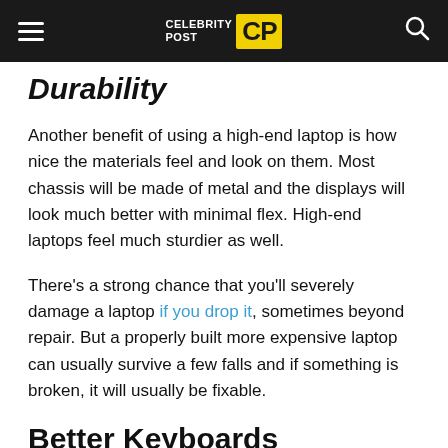CELEBRITY POST CP
Durability
Another benefit of using a high-end laptop is how nice the materials feel and look on them. Most chassis will be made of metal and the displays will look much better with minimal flex. High-end laptops feel much sturdier as well.
There's a strong chance that you'll severely damage a laptop if you drop it, sometimes beyond repair. But a properly built more expensive laptop can usually survive a few falls and if something is broken, it will usually be fixable.
Better Keyboards
Keyboards on high-end machines are also much better. Some of the machines today even have mechanical